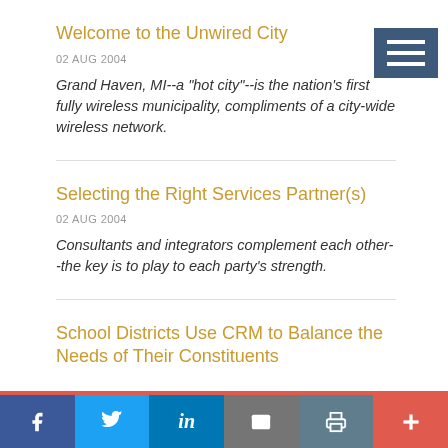Welcome to the Unwired City
02 AUG 2004
Grand Haven, MI--a "hot city"--is the nation's first fully wireless municipality, compliments of a city-wide wireless network.
Selecting the Right Services Partner(s)
02 AUG 2004
Consultants and integrators complement each other--the key is to play to each party's strength.
School Districts Use CRM to Balance the Needs of Their Constituents